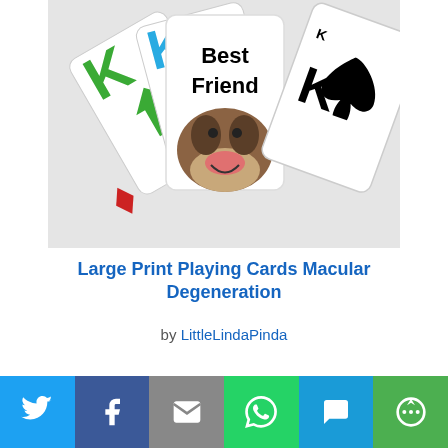[Figure (photo): Photo of playing cards fanned out with a bulldog in the center. Cards show 'Best Friend' text, King of Spades, and colorful K cards. Dog appears to be a brindle bulldog with tongue out.]
Large Print Playing Cards Macular Degeneration
by LittleLindaPinda
[Figure (photo): Partial second image visible at bottom, grey background]
[Figure (infographic): Social sharing bar with Twitter (blue), Facebook (dark blue), Email (grey), WhatsApp (green), SMS (blue), More (green) buttons with icons]